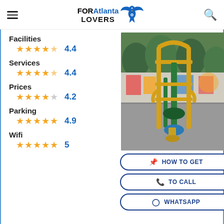FOR Atlanta LOVERS
Facilities
★★★★☆ 4.4
Services
★★★★☆ 4.4
Prices
★★★★☆ 4.2
Parking
★★★★★ 4.9
Wifi
★★★★★ 5
[Figure (photo): Outdoor playground/gym equipment — a gold and green pull-up/exercise machine on a concrete surface with colorful murals and playground equipment in the background.]
HOW TO GET
TO CALL
WHATSAPP